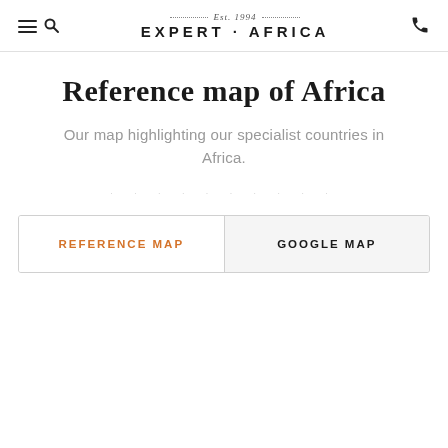Expert Africa – Est. 1994
Reference map of Africa
Our map highlighting our specialist countries in Africa.
· · · · · · · · · ·
REFERENCE MAP | GOOGLE MAP